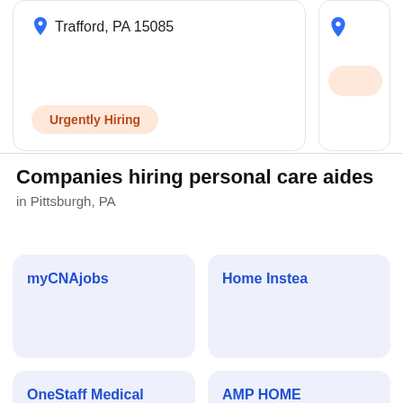Trafford, PA 15085
Urgently Hiring
Companies hiring personal care aides
in Pittsburgh, PA
myCNAjobs
Home Inste…
OneStaff Medical
AMP HOME…